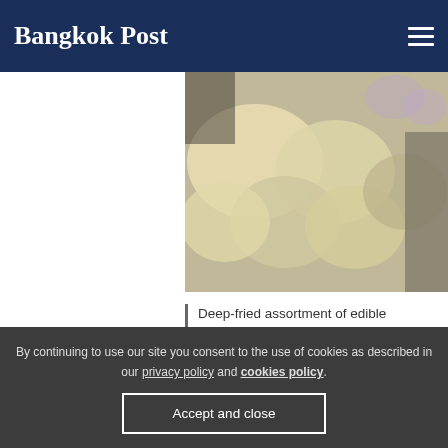Bangkok Post
[Figure (photo): Deep-fried assortment of edible flowerets, close-up food photograph with purple flowers visible in background]
Deep-fried assortment of edible flowerets.
[Figure (photo): Yellow/orange colored box with handwritten text reading 'Sukhumvit' and other text partially visible]
By continuing to use our site you consent to the use of cookies as described in our privacy policy and cookies policy.
Accept and close